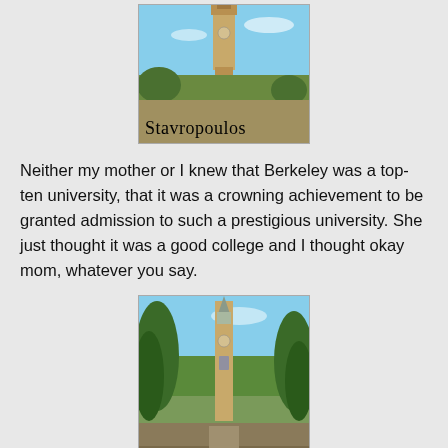[Figure (photo): Photo of a tall clock tower (Campanile/Sather Tower at UC Berkeley) against a blue sky, with watermark text 'Stavropoulos' overlaid at the bottom]
Neither my mother or I knew that Berkeley was a top-ten university, that it was a crowning achievement to be granted admission to such a prestigious university. She just thought it was a good college and I thought okay mom, whatever you say.
[Figure (photo): Photo of the Campanile (Sather Tower) at UC Berkeley surrounded by trees, with watermark text 'Stavropoulos' overlaid at the bottom]
The Campanile stands 307 feet (93.6 m) tall, making